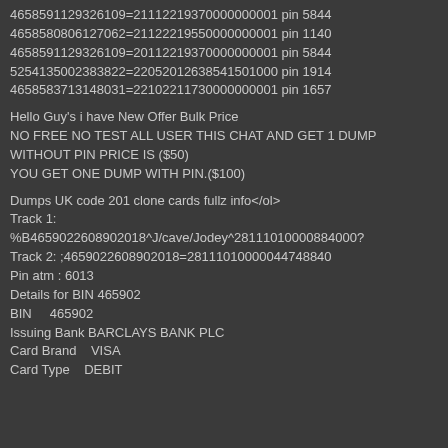4658591129326109=21112219370000000001 pin 5844
4658580806127062=21122219550000000001 pin 1140
4658591129326109=20112219370000000001 pin 5844
5254135002383822=22052012638541501000 pin 1914
4658583713148031=22102211730000000001 pin 1657
Hello Guy's i have New Offer Bulk Price
NO FREE NO TEST ALL USER THIS CHAT AND GET 1 DUMP
WITHOUT PIN PRICE IS ($50)
YOU GET ONE DUMP WITH PIN.($100)
Dumps UK code 201 clone cards fullz info</ol>
Track 1:
%B4659022608902018^J/cave/Jodey^28111010000884000?
Track 2: ;4659022608902018=28111010000044748840
Pin atm : 6013
Details for BIN 465902
BIN    465902
Issuing Bank BARCLAYS BANK PLC
Card Brand    VISA
Card Type    DEBIT